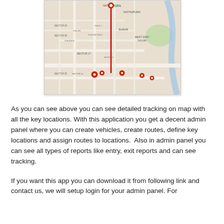[Figure (map): A Google Maps view showing a route with multiple red location markers across an area including Nathu Pura, Nathupura, Burari, West Sant Nagar, Sector 17, Sector 25, and surrounding areas. A red vertical line indicates a route between markers.]
As you can see above you can see detailed tracking on map with all the key locations. With this application you get a decent admin panel where you can create vehicles, create routes, define key locations and assign routes to locations. Also in admin panel you can see all types of reports like entry, exit reports and can see tracking.
If you want this app you can download it from following link and contact us, we will setup login for your admin panel. For